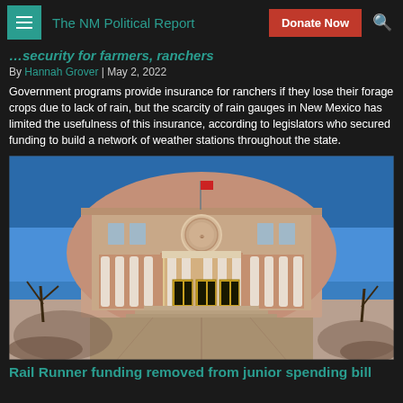The NM Political Report
...security for farmers, ranchers
By Hannah Grover | May 2, 2022
Government programs provide insurance for ranchers if they lose their forage crops due to lack of rain, but the scarcity of rain gauges in New Mexico has limited the usefulness of this insurance, according to legislators who secured funding to build a network of weather stations throughout the state.
[Figure (photo): Front exterior of the New Mexico State Capitol building (the Roundhouse) with white columns, a large state seal above the entrance, blue sky in the background, and tree shadows on the foreground pavement.]
Rail Runner funding removed from junior spending bill